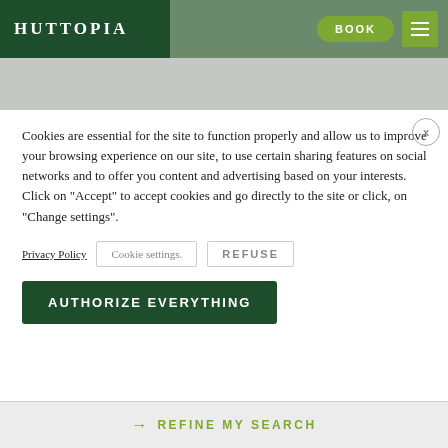HUTTOPIA | BOOK
Cookies are essential for the site to function properly and allow us to improve your browsing experience on our site, to use certain sharing features on social networks and to offer you content and advertising based on your interests. Click on "Accept" to accept cookies and go directly to the site or click, on "Change settings".
Privacy Policy | Cookie settings. | REFUSE
AUTHORIZE EVERYTHING
→ REFINE MY SEARCH